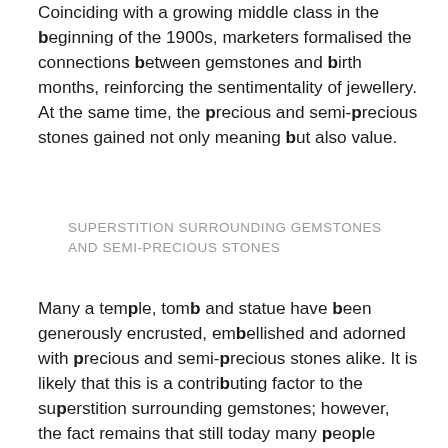Coinciding with a growing middle class in the beginning of the 1900s, marketers formalised the connections between gemstones and birth months, reinforcing the sentimentality of jewellery. At the same time, the precious and semi-precious stones gained not only meaning but also value.
SUPERSTITION SURROUNDING GEMSTONES AND SEMI-PRECIOUS STONES
Many a temple, tomb and statue have been generously encrusted, embellished and adorned with precious and semi-precious stones alike. It is likely that this is a contributing factor to the superstition surrounding gemstones; however, the fact remains that still today many people attribute meaning, mystical qualities and healing properties